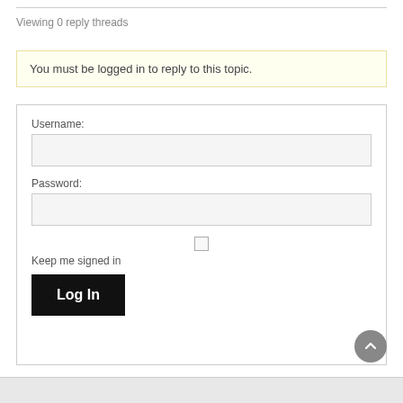Viewing 0 reply threads
You must be logged in to reply to this topic.
Username:
Password:
Keep me signed in
Log In